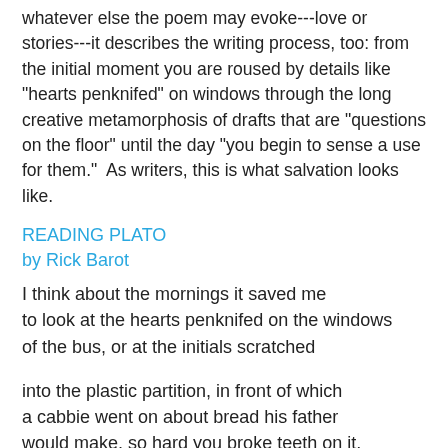whatever else the poem may evoke---love or stories---it describes the writing process, too: from the initial moment you are roused by details like "hearts penknifed" on windows through the long creative metamorphosis of drafts that are "questions on the floor" until the day "you begin to sense a use for them."  As writers, this is what salvation looks like.
READING PLATO
by Rick Barot
I think about the mornings it saved me
to look at the hearts penknifed on the windows
of the bus, or at the initials scratched

into the plastic partition, in front of which
a cabbie went on about bread his father
would make, so hard you broke teeth on it,

or told one more story about the plumbing
in New Delhi buildings, villages to each floor,
his whole childhood in a building, nothing to